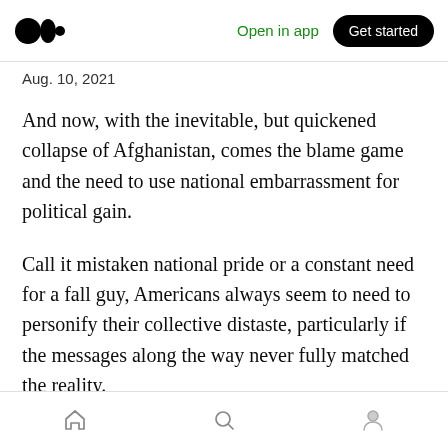Medium app navigation bar with logo, Open in app, Get started
Aug. 10, 2021
And now, with the inevitable, but quickened collapse of Afghanistan, comes the blame game and the need to use national embarrassment for political gain.
Call it mistaken national pride or a constant need for a fall guy, Americans always seem to need to personify their collective distaste, particularly if the messages along the way never fully matched the reality.
We see it all the time: When the baseball team—
Home | Search | Profile tab bar